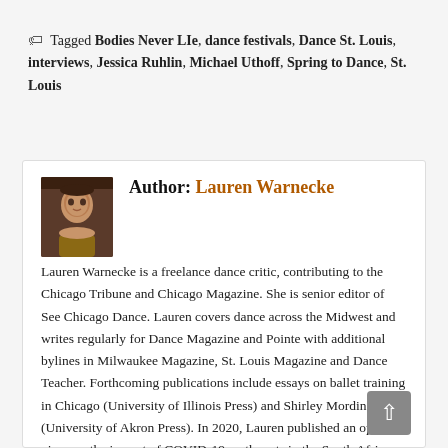Tagged Bodies Never LIe, dance festivals, Dance St. Louis, interviews, Jessica Ruhlin, Michael Uthoff, Spring to Dance, St. Louis
Author: Lauren Warnecke
Lauren Warnecke is a freelance dance critic, contributing to the Chicago Tribune and Chicago Magazine. She is senior editor of See Chicago Dance. Lauren covers dance across the Midwest and writes regularly for Dance Magazine and Pointe with additional bylines in Milwaukee Magazine, St. Louis Magazine and Dance Teacher. Forthcoming publications include essays on ballet training in Chicago (University of Illinois Press) and Shirley Mordine (University of Akron Press). In 2020, Lauren published an opinion piece on the impact of COVID-19 on the arts in the South African journal Agenda. Lauren holds degrees in dance and kinesiology and has presented research on dance